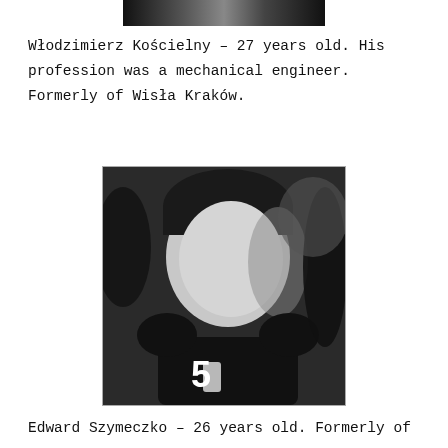[Figure (photo): Partial black and white photograph at top of page, cropped — bottom portion of a sports/portrait photo]
Włodzimierz Kościelny – 27 years old. His profession was a mechanical engineer. Formerly of Wisła Kraków.
[Figure (photo): Black and white portrait photograph of a man wearing a dark sports jersey with number 5, shown from the chest up in profile/three-quarter view]
Edward Szymeczko – 26 years old. Formerly of